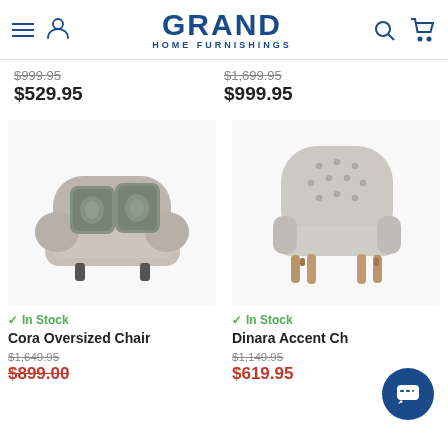Grand Home Furnishings
$999.95 (strikethrough) $529.95 | $1,699.95 (strikethrough) $999.95
[Figure (photo): Cora Oversized Chair - grey overstuffed chair with two decorative patterned pillows]
✓ In Stock
Cora Oversized Chair
$1,649.95
$899.00
[Figure (photo): Dinara Accent Chair - light grey tufted wingback accent chair with wooden legs]
✓ In Stock
Dinara Accent Chair
$1,149.95
$619.95